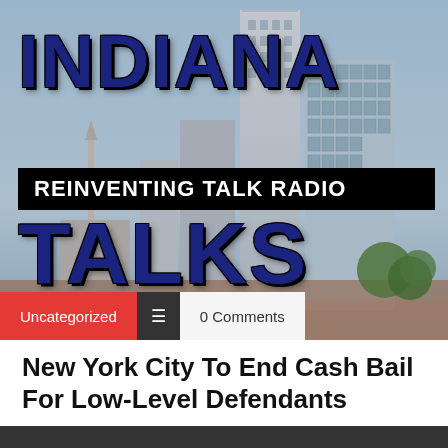[Figure (logo): Indiana Talks radio station logo overlaid on a photo of Indianapolis cityscape with Soldiers and Sailors Monument. Text reads INDIANA (top, large dark blue bold), REINVENTING TALK RADIO (middle black bar, white text), TALKS (large dark blue bold). Tags bar at bottom shows Uncategorized (red), hamburger menu icon (dark), 0 Comments (light gray).]
New York City To End Cash Bail For Low-Level Defendants